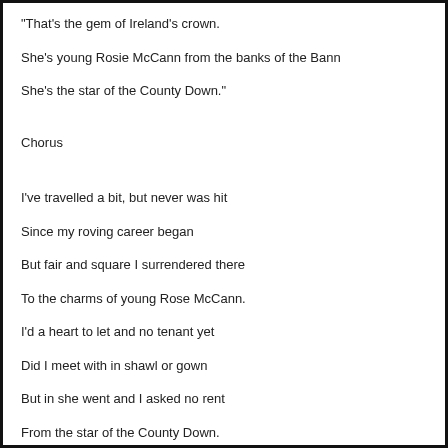"That's the gem of Ireland's crown.
She's young Rosie McCann from the banks of the Bann
She's the star of the County Down."
Chorus
I've travelled a bit, but never was hit
Since my roving career began
But fair and square I surrendered there
To the charms of young Rose McCann.
I'd a heart to let and no tenant yet
Did I meet with in shawl or gown
But in she went and I asked no rent
From the star of the County Down.
Chorus